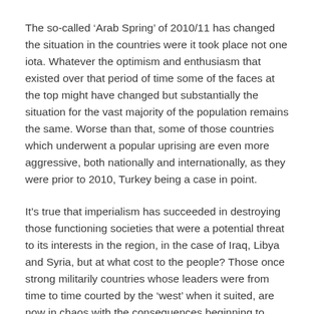The so-called ‘Arab Spring’ of 2010/11 has changed the situation in the countries were it took place not one iota. Whatever the optimism and enthusiasm that existed over that period of time some of the faces at the top might have changed but substantially the situation for the vast majority of the population remains the same. Worse than that, some of those countries which underwent a popular uprising are even more aggressive, both nationally and internationally, as they were prior to 2010, Turkey being a case in point.
It’s true that imperialism has succeeded in destroying those functioning societies that were a potential threat to its interests in the region, in the case of Iraq, Libya and Syria, but at what cost to the people? Those once strong militarily countries whose leaders were from time to time courted by the ‘west’ when it suited, are now in chaos with the consequences beginning to have an effect on Europe as more and more refugees seek sanctuary in a part of the world that caused the problem in the first place.
But the populations of the countries who have gave birth to, then incubated this hatred so that it has grown into a myriad of western...